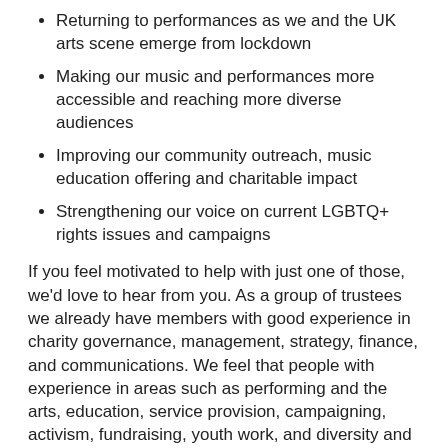Returning to performances as we and the UK arts scene emerge from lockdown
Making our music and performances more accessible and reaching more diverse audiences
Improving our community outreach, music education offering and charitable impact
Strengthening our voice on current LGBTQ+ rights issues and campaigns
If you feel motivated to help with just one of those, we'd love to hear from you. As a group of trustees we already have members with good experience in charity governance, management, strategy, finance, and communications. We feel that people with experience in areas such as performing and the arts, education, service provision, campaigning, activism, fundraising, youth work, and diversity and inclusion work could complement our skills. But most important is just a passion for our mission.